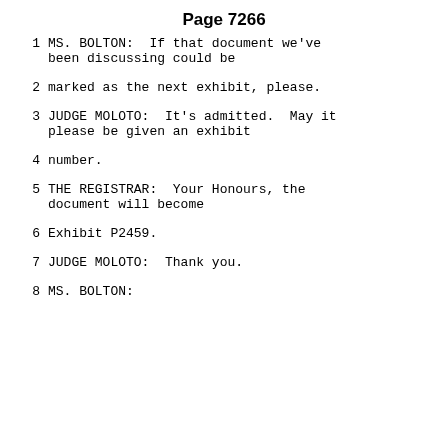Page 7266
1    MS. BOLTON:  If that document we've been discussing could be
2    marked as the next exhibit, please.
3    JUDGE MOLOTO:  It's admitted.  May it please be given an exhibit
4    number.
5    THE REGISTRAR:  Your Honours, the document will become
6    Exhibit P2459.
7    JUDGE MOLOTO:  Thank you.
8    MS. BOLTON: